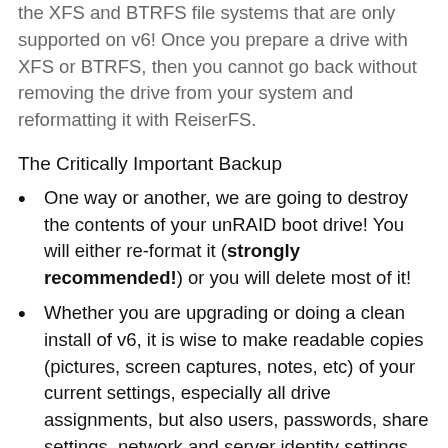the XFS and BTRFS file systems that are only supported on v6! Once you prepare a drive with XFS or BTRFS, then you cannot go back without removing the drive from your system and reformatting it with ReiserFS.
The Critically Important Backup
One way or another, we are going to destroy the contents of your unRAID boot drive! You will either reformat it (strongly recommended!) or you will delete most of it!
Whether you are upgrading or doing a clean install of v6, it is wise to make readable copies (pictures, screen captures, notes, etc) of your current settings, especially all drive assignments, but also users, passwords, share settings, network and server identity settings. And don't forget copies of all of your